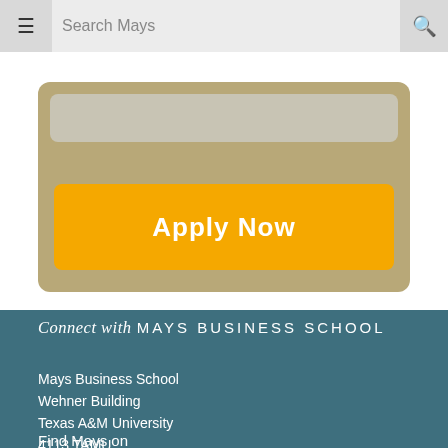Search Mays
[Figure (screenshot): Orange Apply Now button on a tan/gold card background, with a grey bar above it]
Connect with MAYS BUSINESS SCHOOL
Mays Business School
Wehner Building
Texas A&M University
4113 TAMU
College Station, Texas 77843-4113
Dean's Office: (979) 845-4711
Find Mays on